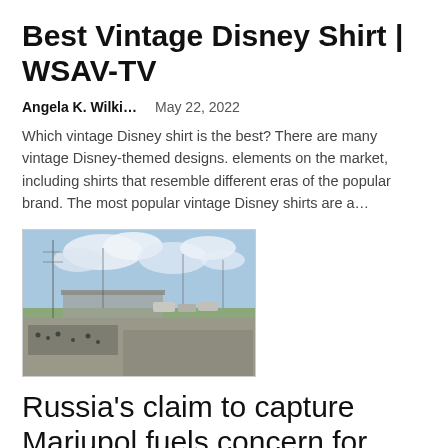Best Vintage Disney Shirt | WSAV-TV
Angela K. Wilki…    May 22, 2022
Which vintage Disney shirt is the best? There are many vintage Disney-themed designs. elements on the market, including shirts that resemble different eras of the popular brand. The most popular vintage Disney shirts are a…
[Figure (photo): Outdoor scene showing a crowd of people on a road or bridge area with industrial infrastructure, power lines, vehicles, and a cloudy sky in the background.]
Russia's claim to capture Mariupol fuels concern for